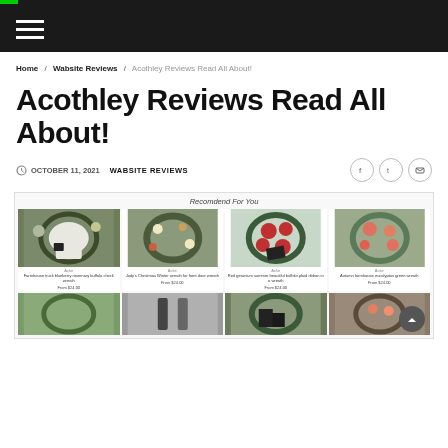Navigation bar with hamburger menu
Home / Wabsite Reviews / Acothley Reviews Read All About!
Acothley Reviews Read All About!
OCTOBER 11, 2021  WABSITE REVIEWS
[Figure (screenshot): Product grid showing wreaths with 'Recomdend For You' label and prices starting from $24.00]